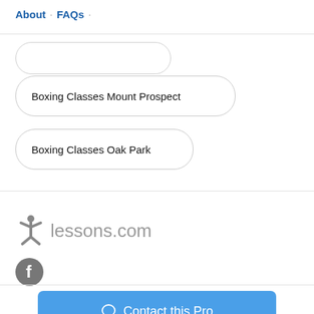About · FAQs ·
Boxing Classes Mount Prospect
Boxing Classes Oak Park
[Figure (logo): lessons.com logo with star icon and grey text]
[Figure (logo): Facebook social media icon, grey circle with white f]
Contact this Pro